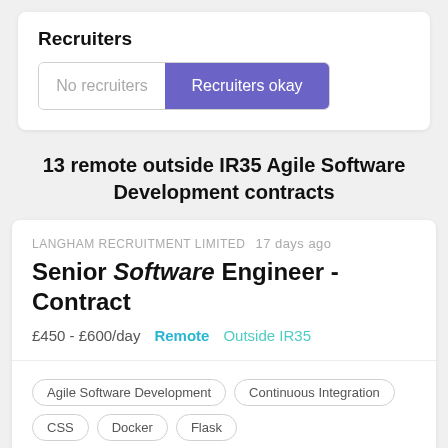Recruiters
No recruiters | Recruiters okay
13 remote outside IR35 Agile Software Development contracts
LANGHAM RECRUITMENT LIMITED  17 days ago
Senior Software Engineer - Contract
£450 - £600/day   Remote   Outside IR35
Agile Software Development
Continuous Integration
CSS
Docker
Flask